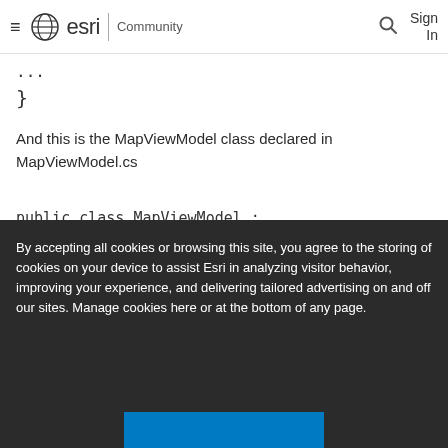esri Community
...
}
And this is the MapViewModel class declared in MapViewModel.cs
public class MapViewModel : INotifyPropertyChanged
{
    public MapViewModel()
By accepting all cookies or browsing this site, you agree to the storing of cookies on your device to assist Esri in analyzing visitor behavior, improving your experience, and delivering tailored advertising on and off our sites. Manage cookies here or at the bottom of any page.